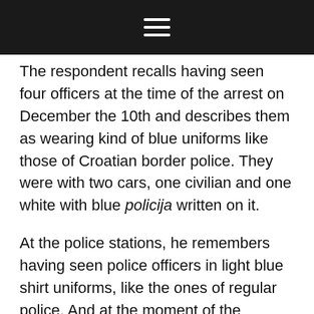The respondent recalls having seen four officers at the time of the arrest on December the 10th and describes them as wearing kind of blue uniforms like those of Croatian border police. They were with two cars, one civilian and one white with blue policija written on it.
At the police stations, he remembers having seen police officers in light blue shirt uniforms, like the ones of regular police. And at the moment of the pushback, there were three police officers who were wearing very dark uniforms, with scarf-half-covered faces. They were also holding a pistol, a torch and a stick, and one of them had a dog with the muzzle, which was released for a while just to scare the people. The respondent thinks they could be members of the